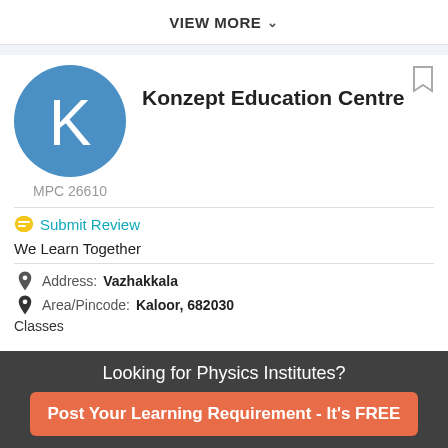VIEW MORE
[Figure (logo): Blue circle with white letter K - Konzept Education Centre logo]
Konzept Education Centre
MPC 26610
Submit Review
We Learn Together
Address: Vazhakkala
Area/Pincode: Kaloor, 682030
Classes
Looking for Physics Institutes?
Post Your Learning Requirement - It's FREE